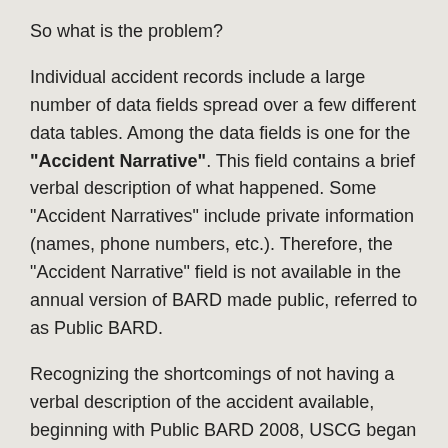So what is the problem?
Individual accident records include a large number of data fields spread over a few different data tables. Among the data fields is one for the "Accident Narrative". This field contains a brief verbal description of what happened. Some "Accident Narratives" include private information (names, phone numbers, etc.). Therefore, the "Accident Narrative" field is not available in the annual version of BARD made public, referred to as Public BARD.
Recognizing the shortcomings of not having a verbal description of the accident available, beginning with Public BARD 2008, USCG began including a "Redacted Narrative" field. This is the information in the "Accident Narrative" data field with any private information redacted. While some 2008 or later boat accident records